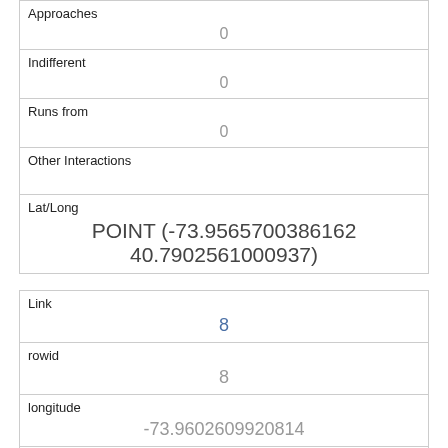| Approaches | 0 |
| Indifferent | 0 |
| Runs from | 0 |
| Other Interactions |  |
| Lat/Long | POINT (-73.9565700386162 40.7902561000937) |
| Link | 8 |
| rowid | 8 |
| longitude | -73.9602609920814 |
| latitude | 40.7942883045566 |
| Unique Squirrel ID |  |